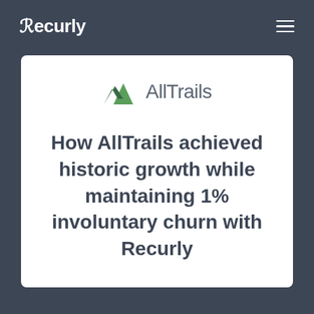Recurly
[Figure (logo): AllTrails logo with green mountain/triangle icon and grey AllTrails wordmark]
How AllTrails achieved historic growth while maintaining 1% involuntary churn with Recurly